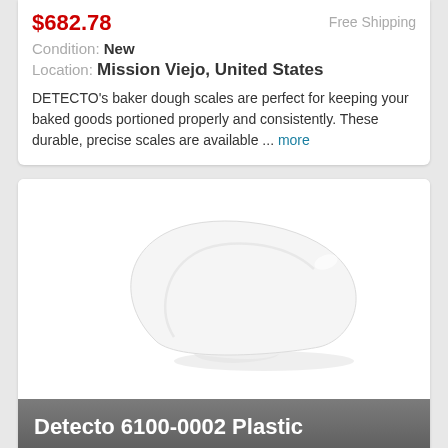$682.76  Free Shipping
Condition: New
Location: Mission Viejo, United States
DETECTO's baker dough scales are perfect for keeping your baked goods portioned properly and consistently. These durable, precise scales are available ... more
[Figure (photo): White plastic scoop (Detecto 6100-0002) product photo on white background]
Detecto 6100-0002 Plastic Scoop
$209.95  Buy It Now